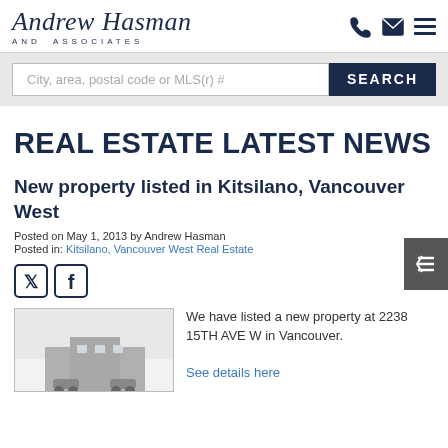Andrew Hasman AND ASSOCIATES
City, area, postal code or MLS(r) #
REAL ESTATE LATEST NEWS
New property listed in Kitsilano, Vancouver West
Posted on May 1, 2013 by Andrew Hasman
Posted in: Kitsilano, Vancouver West Real Estate
[Figure (screenshot): Twitter and Facebook social share icons]
[Figure (photo): Property photo thumbnail showing a building]
We have listed a new property at 2238 15TH AVE W in Vancouver.
See details here